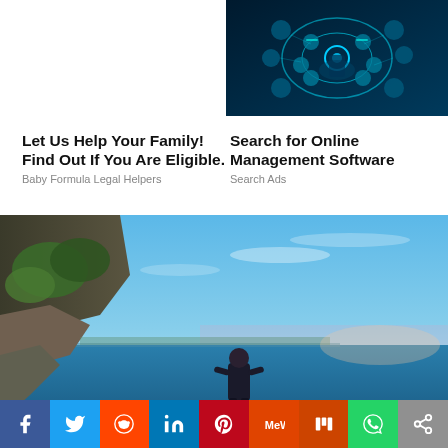[Figure (photo): Technology concept photo with glowing digital icons and a hand touching a holographic interface]
Let Us Help Your Family! Find Out If You Are Eligible.
Baby Formula Legal Helpers
Search for Online Management Software
Search Ads
[Figure (photo): Person standing on a cliff overlooking a blue ocean and rocky coastline with clear sky]
[Figure (infographic): Social media share bar with icons for Facebook, Twitter, Reddit, LinkedIn, Pinterest, MeWe, Mix, WhatsApp, and Share]